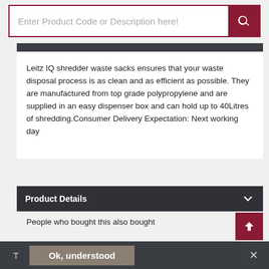[Figure (screenshot): Search input field with placeholder text 'Enter Product Code or Description here!' and a dark red search button with magnifying glass icon]
Leitz IQ shredder waste sacks ensures that your waste disposal process is as clean and as efficient as possible. They are manufactured from top grade polypropylene and are supplied in an easy dispenser box and can hold up to 40Litres of shredding.Consumer Delivery Expectation: Next working day
Product Details
People who bought this also bought
T  Ok, understood  ✕